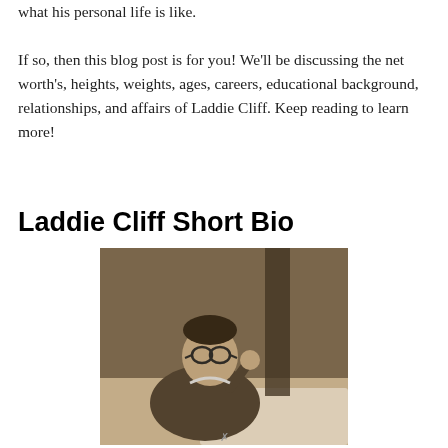what his personal life is like.
If so, then this blog post is for you! We'll be discussing the net worth's, heights, weights, ages, careers, educational background, relationships, and affairs of Laddie Cliff. Keep reading to learn more!
Laddie Cliff Short Bio
[Figure (photo): Black and white photograph of a man wearing glasses and a suit, sitting and holding something in his raised right hand, appearing to be on a stage or theatrical set.]